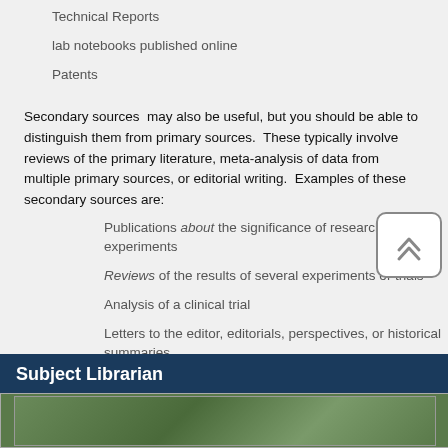Technical Reports
lab notebooks published online
Patents
Secondary sources  may also be useful, but you should be able to distinguish them from primary sources.  These typically involve reviews of the primary literature, meta-analysis of data from multiple primary sources, or editorial writing.  Examples of these secondary sources are:
Publications about the significance of research or experiments
Reviews of the results of several experiments or trials
Analysis of a clinical trial
Letters to the editor, editorials, perspectives, or historical summaries
Subject Librarian
[Figure (photo): Photo of subject librarian, partially visible at bottom of page]